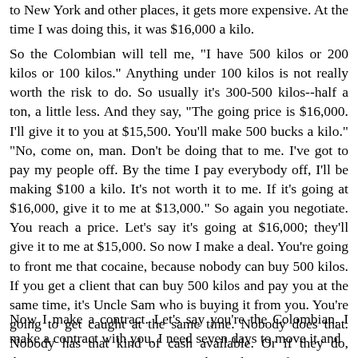to New York and other places, it gets more expensive. At the time I was doing this, it was $16,000 a kilo.
So the Colombian will tell me, "I have 500 kilos or 200 kilos or 100 kilos." Anything under 100 kilos is not really worth the risk to do. So usually it's 300-500 kilos--half a ton, a little less. And they say, "The going price is $16,000. I'll give it to you at $15,500. You'll make 500 bucks a kilo." "No, come on, man. Don't be doing that to me. I've got to pay my people off. By the time I pay everybody off, I'll be making $100 a kilo. It's not worth it to me. If it's going at $16,000, give it to me at $13,000." So again you negotiate. You reach a price. Let's say it's going at $16,000; they'll give it to me at $15,000. So now I make a deal. You're going to front me that cocaine, because nobody can buy 500 kilos. If you get a client that can buy 500 kilos and pay you at the same time, it's Uncle Sam who is buying it from you. You're going to get caught at the same time. Nobody does that. Nobody has that kind of cash available. Or if they do, they're not going to move it. People are buying from 5, 50, 100. To me, it's on credit.
Now I make a contract. Let's say you're the Colombian. I make a contract with you. I need seven days to move it and